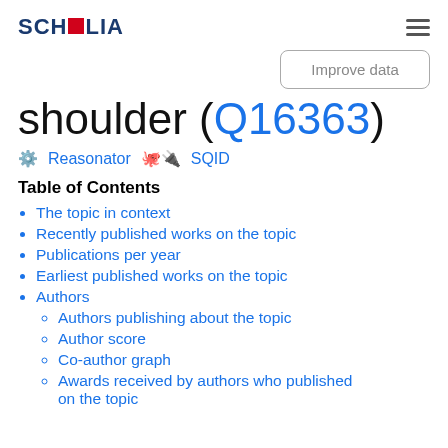SCHOLIA
Improve data
shoulder (Q16363)
Reasonator   SQID
Table of Contents
The topic in context
Recently published works on the topic
Publications per year
Earliest published works on the topic
Authors
Authors publishing about the topic
Author score
Co-author graph
Awards received by authors who published on the topic